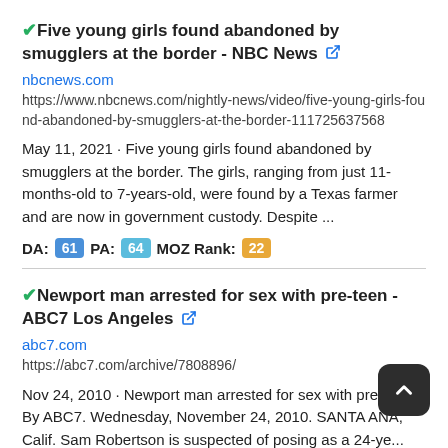Five young girls found abandoned by smugglers at the border - NBC News
nbcnews.com
https://www.nbcnews.com/nightly-news/video/five-young-girls-found-abandoned-by-smugglers-at-the-border-111725637568
May 11, 2021 · Five young girls found abandoned by smugglers at the border. The girls, ranging from just 11-months-old to 7-years-old, were found by a Texas farmer and are now in government custody. Despite ...
DA: 61  PA: 64  MOZ Rank: 22
Newport man arrested for sex with pre-teen - ABC7 Los Angeles
abc7.com
https://abc7.com/archive/7808896/
Nov 24, 2010 · Newport man arrested for sex with pre-teen By ABC7. Wednesday, November 24, 2010. SANTA ANA, Calif. Sam Robertson is suspected of posing as a 24-ye... online. His real age is 41. He faces ...